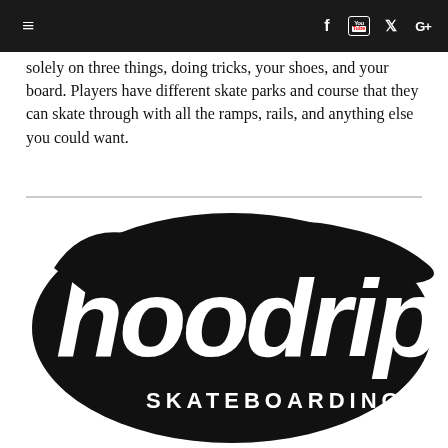Navigation bar with hamburger menu and social icons (Facebook, YouTube, Twitter, Google+)
solely on three things, doing tricks, your shoes, and your board. Players have different skate parks and course that they can skate through with all the ramps, rails, and anything else you could want.
[Figure (logo): Hoodrip Skateboarding logo — large stylized black script lettering 'hoodrip' with 'SKATEBOARDING' below and a registered trademark symbol]